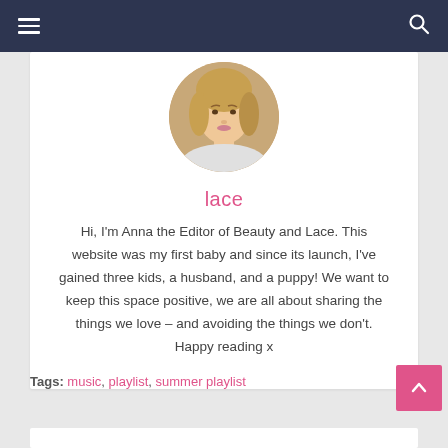≡ [menu] [search]
[Figure (photo): Circular avatar photo of a young blonde woman]
lace
Hi, I'm Anna the Editor of Beauty and Lace. This website was my first baby and since its launch, I've gained three kids, a husband, and a puppy! We want to keep this space positive, we are all about sharing the things we love – and avoiding the things we don't. Happy reading x
Tags: music, playlist, summer playlist